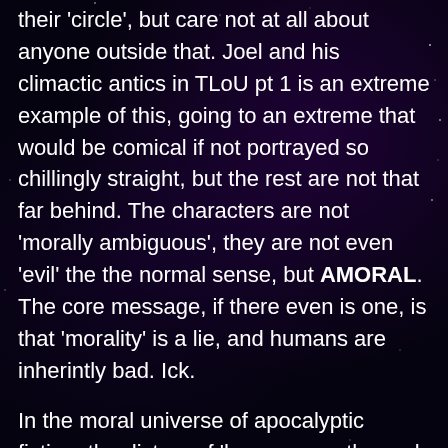their 'circle', but care not at all about anyone outside that. Joel and his climactic antics in TLoU pt 1 is an extreme example of this, going to an extreme that would be comical if not portrayed so chillingly straight, but the rest are not that far behind. The characters are not 'morally ambiguous', they are not even 'evil' the the normal sense, but AMORAL. The core message, if there even is one, is that 'morality' is a lie, and humans are inherintly bad. Ick.
In the moral universe of apocalyptic fiction, the dictum of 'humans are the real monsters' is taken as absolute, and depicted as being the natural, true state of humanity when they do not have the gun of society to their head. Most of the time, 'morally grey' fiction just means 'all humans are bastards',